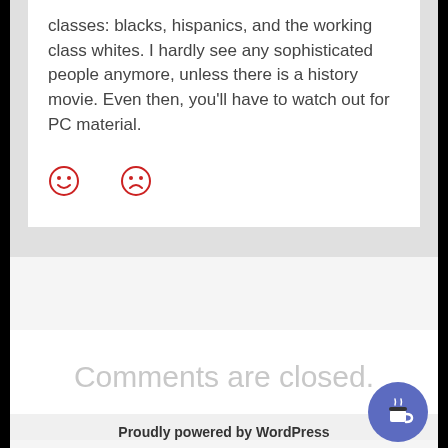classes: blacks, hispanics, and the working class whites. I hardly see any sophisticated people anymore, unless there is a history movie. Even then, you'll have to watch out for PC material.
[Figure (illustration): Two emoji icons: a smiley face and a frowning face, both in red outline style]
Comments are closed.
Proudly powered by WordPress